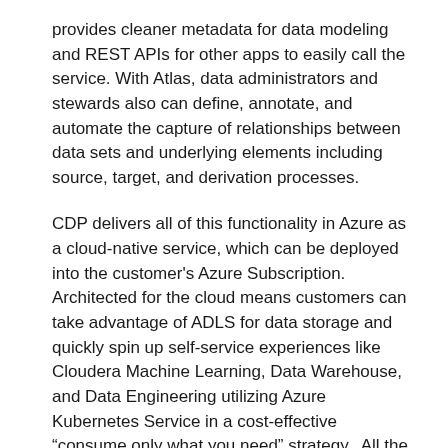provides cleaner metadata for data modeling and REST APIs for other apps to easily call the service. With Atlas, data administrators and stewards also can define, annotate, and automate the capture of relationships between data sets and underlying elements including source, target, and derivation processes.
CDP delivers all of this functionality in Azure as a cloud-native service, which can be deployed into the customer's Azure Subscription. Architected for the cloud means customers can take advantage of ADLS for data storage and quickly spin up self-service experiences like Cloudera Machine Learning, Data Warehouse, and Data Engineering utilizing Azure Kubernetes Service in a cost-effective “consume only what you need” strategy.  All the while, delivering this in a safe and secure platform powered by Cloudera SDX.